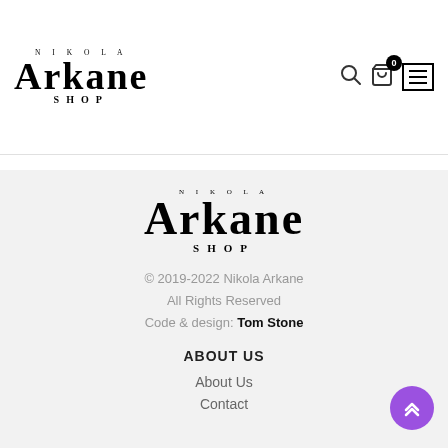[Figure (logo): Nikola Arkane Shop logo in black serif font, top-left of header]
[Figure (illustration): Header icons: search icon, cart icon with badge showing 0, hamburger menu button]
[Figure (logo): Nikola Arkane Shop logo in black serif font, centered in footer area]
© 2019-2022 Nikola Arkane
All Rights Reserved
Code & design: Tom Stone
ABOUT US
About Us
Contact